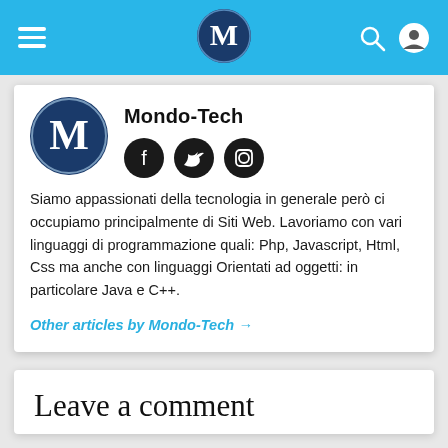Mondo-Tech navigation bar with hamburger menu, logo, search and user icons
Mondo-Tech
[Figure (logo): Circular avatar logo with stylized metallic M letter on dark blue circuit board background, social media icons: Facebook, Twitter, Instagram]
Siamo appassionati della tecnologia in generale però ci occupiamo principalmente di Siti Web. Lavoriamo con vari linguaggi di programmazione quali: Php, Javascript, Html, Css ma anche con linguaggi Orientati ad oggetti: in particolare Java e C++.
Other articles by Mondo-Tech →
Leave a comment